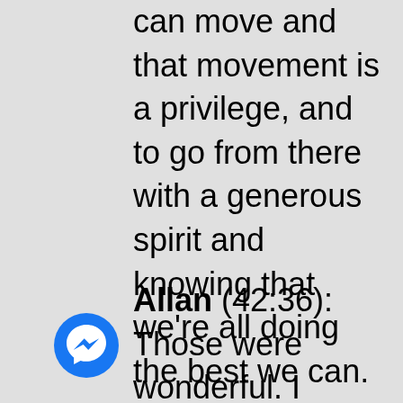can move and that movement is a privilege, and to go from there with a generous spirit and knowing that we're all doing the best we can.
Allan (42:36): Those were wonderful. I appreciate that. I want to thank you also, because you did put this podcast in the "Resources"